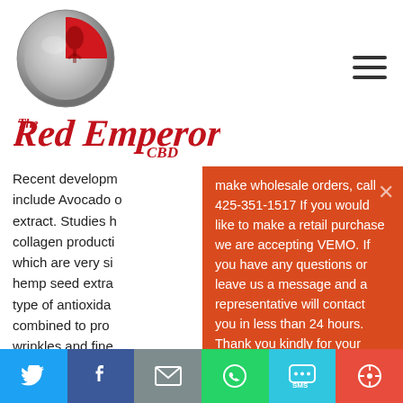[Figure (logo): Red Emperor CBD logo: circular chrome/silver and red badge with a figure silhouette inside, with brand name 'The Red Emperor CBD' in red script below]
Recent developm... include Avocado o... extract. Studies h... collagen producti... which are very si... hemp seed extra... type of antioxida... combined to pro... wrinkles and fine...
make wholesale orders, call 425-351-1517 If you would like to make a retail purchase we are accepting VEMO. If you have any questions or leave us a message and a representative will contact you in less than 24 hours. Thank you kindly for your patience.